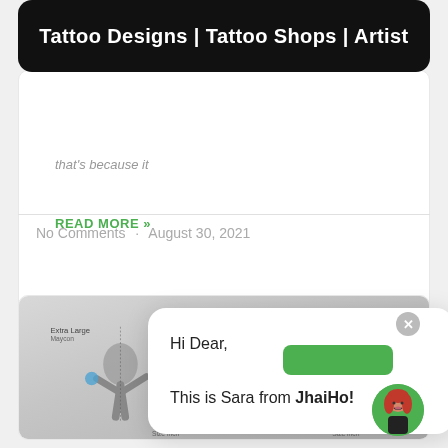Tattoo Designs | Tattoo Shops | Artist
that's because it
READ MORE »
No Comments · August 30, 2021
[Figure (photo): Tattoo size comparison chart showing figures with different tattoo sizes labeled: Extra Large (Maycon), Full Sleeve (Maycon), Large, Half Sleeve. Figures appear to be athletes or fighters in motion poses.]
Hi Dear,

This is Sara from JhaiHo!